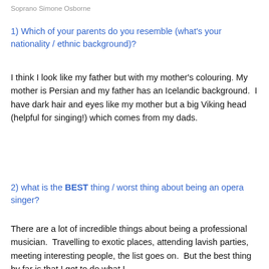Soprano Simone Osborne
1) Which of your parents do you resemble (what's your nationality / ethnic background)?
I think I look like my father but with my mother's colouring. My mother is Persian and my father has an Icelandic background.  I have dark hair and eyes like my mother but a big Viking head (helpful for singing!) which comes from my dads.
2) what is the BEST thing / worst thing about being an opera singer?
There are a lot of incredible things about being a professional musician.  Travelling to exotic places, attending lavish parties, meeting interesting people, the list goes on.  But the best thing by far is that I get to do what I